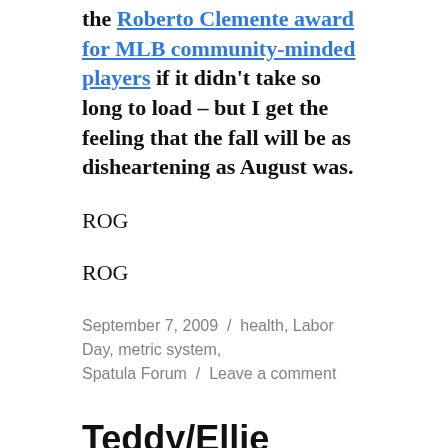the Roberto Clemente award for MLB community-minded players if it didn't take so long to load – but I get the feeling that the fall will be as disheartening as August was.
ROG
ROG
September 7, 2009  /  health, Labor Day, metric system, Spatula Forum  /  Leave a comment
Teddy/Ellie
[Figure (photo): A photo of a person or animal, warm brown and golden tones, partially visible at bottom of page]